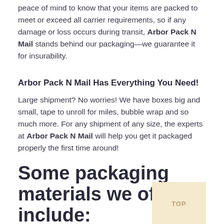peace of mind to know that your items are packed to meet or exceed all carrier requirements, so if any damage or loss occurs during transit, Arbor Pack N Mail stands behind our packaging—we guarantee it for insurability.
Arbor Pack N Mail Has Everything You Need!
Large shipment? No worries! We have boxes big and small, tape to unroll for miles, bubble wrap and so much more. For any shipment of any size, the experts at Arbor Pack N Mail will help you get it packaged properly the first time around!
Some packaging materials we offer include:
Boxes — Over 25 different sizes — single wall and